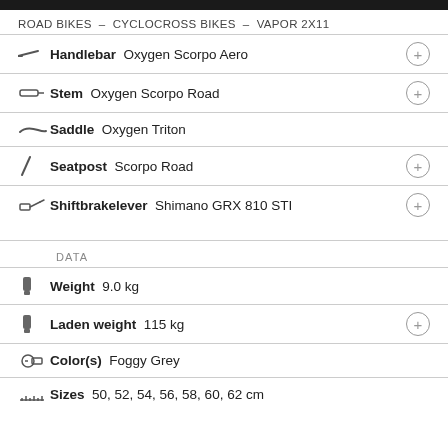ROAD BIKES – CYCLOCROSS BIKES – VAPOR 2X11
Handlebar  Oxygen Scorpo Aero
Stem  Oxygen Scorpo Road
Saddle  Oxygen Triton
Seatpost  Scorpo Road
Shiftbrakelever  Shimano GRX 810 STI
DATA
Weight  9.0 kg
Laden weight  115 kg
Color(s)  Foggy Grey
Sizes  50, 52, 54, 56, 58, 60, 62 cm